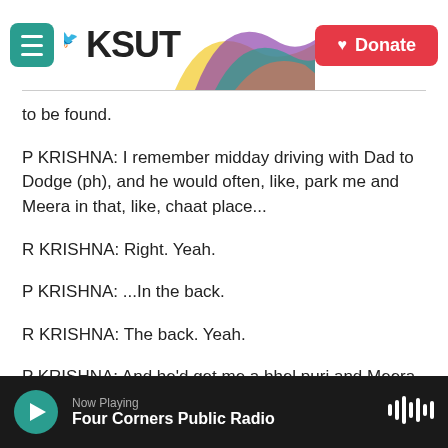KSUT | Donate
to be found.
P KRISHNA: I remember midday driving with Dad to Dodge (ph), and he would often, like, park me and Meera in that, like, chaat place...
R KRISHNA: Right. Yeah.
P KRISHNA: ...In the back.
R KRISHNA: The back. Yeah.
P KRISHNA: And he'd get me a bhel puri and Meera an aloo tikki, and we would happily eat that while
Now Playing
Four Corners Public Radio